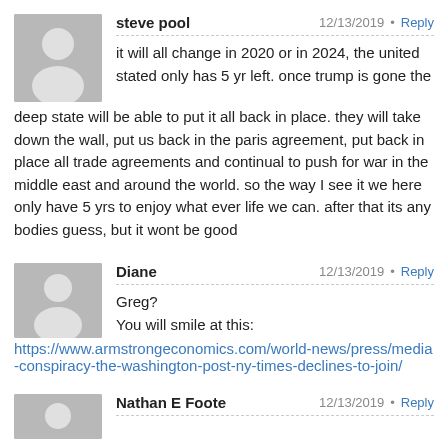steve pool — 12/13/2019 · Reply
it will all change in 2020 or in 2024, the united stated only has 5 yr left. once trump is gone the deep state will be able to put it all back in place. they will take down the wall, put us back in the paris agreement, put back in place all trade agreements and continual to push for war in the middle east and around the world. so the way I see it we here only have 5 yrs to enjoy what ever life we can. after that its any bodies guess, but it wont be good
Diane — 12/13/2019 · Reply
Greg?
You will smile at this:
https://www.armstrongeconomics.com/world-news/press/media-conspiracy-the-washington-post-ny-times-declines-to-join/
Nathan E Foote — 12/13/2019 · Reply